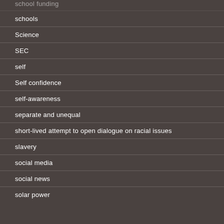school funding
schools
Science
SEC
self
Self confidence
self-awareness
separate and unequal
short-lived attempt to open dialogue on racial issues
slavery
social media
social news
solar power